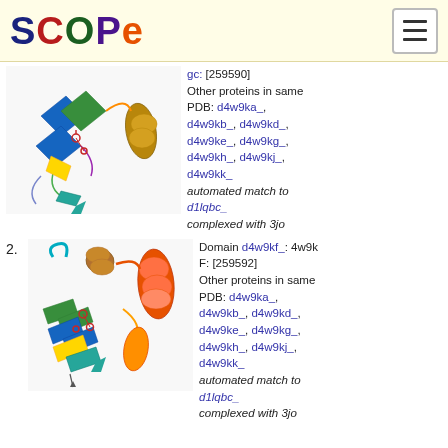SCOPe
[Figure (illustration): 3D protein structure ribbon diagram for entry 1, showing beta sheets and alpha helices in multiple colors (blue, green, yellow, red, orange)]
gc: [259590] Other proteins in same PDB: d4w9ka_, d4w9kb_, d4w9kd_, d4w9ke_, d4w9kg_, d4w9kh_, d4w9kj_, d4w9kk_ automated match to d1lqbc_ complexed with 3jo
2. Domain d4w9kf_: 4w9k F: [259592] Other proteins in same PDB: d4w9ka_, d4w9kb_, d4w9kd_, d4w9ke_, d4w9kg_, d4w9kh_, d4w9kj_, d4w9kk_ automated match to d1lqbc_ complexed with 3jo
[Figure (illustration): 3D protein structure ribbon diagram for entry 2, showing beta sheets and alpha helices in multiple colors (blue, green, cyan, orange, red)]